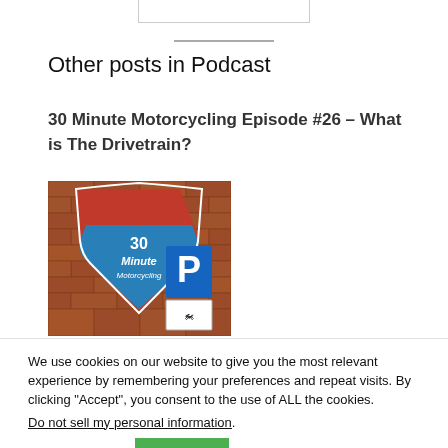Other posts in Podcast
30 Minute Motorcycling Episode #26 – What is The Drivetrain?
[Figure (photo): Podcast thumbnail image showing a highway shield sign reading '30 Minute Motorcycling' in red and blue, with a parking sign and motorcycle icon on a brick wall background.]
We use cookies on our website to give you the most relevant experience by remembering your preferences and repeat visits. By clicking “Accept”, you consent to the use of ALL the cookies.
Do not sell my personal information.
Cookie settings   ACCEPT